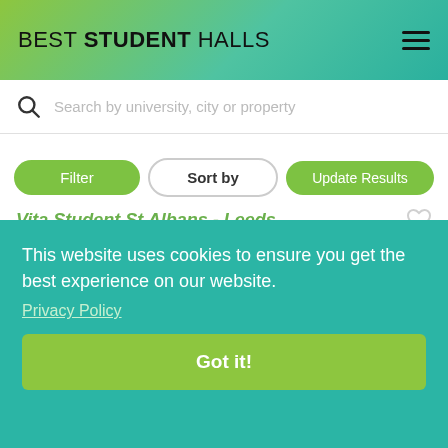BEST STUDENT HALLS
Search by university, city or property
Filter | Sort by | Update Results
Vita Student St Albans - Leeds
Leeds, LS2 8JP
0.3 miles away
1 Offers
This website uses cookies to ensure you get the best experience on our website.
Privacy Policy
Got it!